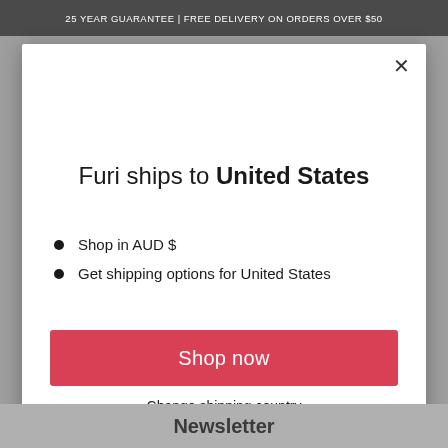25 YEAR GUARANTEE | FREE DELIVERY ON ORDERS OVER $50
×
Furi ships to United States
Shop in AUD $
Get shipping options for United States
Shop now
Change shipping country
Newsletter